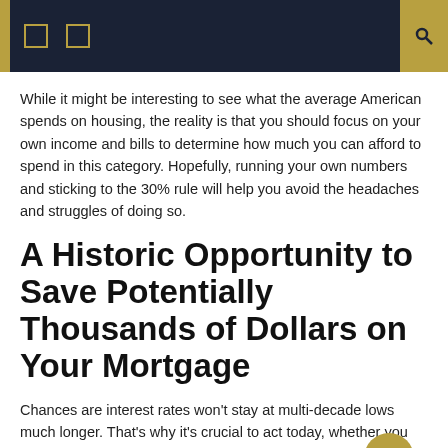navigation header with icons
While it might be interesting to see what the average American spends on housing, the reality is that you should focus on your own income and bills to determine how much you can afford to spend in this category. Hopefully, running your own numbers and sticking to the 30% rule will help you avoid the headaches and struggles of doing so.
A Historic Opportunity to Save Potentially Thousands of Dollars on Your Mortgage
Chances are interest rates won't stay at multi-decade lows much longer. That's why it's crucial to act today, whether you want to refinance and lower your mortgage payments or are ready to pull the trigger on buying a new home.